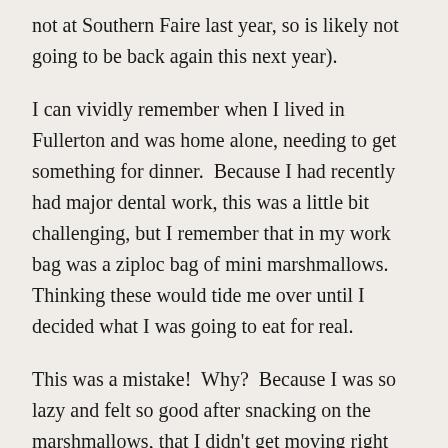not at Southern Faire last year, so is likely not going to be back again this next year).
I can vividly remember when I lived in Fullerton and was home alone, needing to get something for dinner.  Because I had recently had major dental work, this was a little bit challenging, but I remember that in my work bag was a ziploc bag of mini marshmallows.  Thinking these would tide me over until I decided what I was going to eat for real.
This was a mistake!  Why?  Because I was so lazy and felt so good after snacking on the marshmallows, that I didn't get moving right away.  So about an hour or two later I felt this lethargy